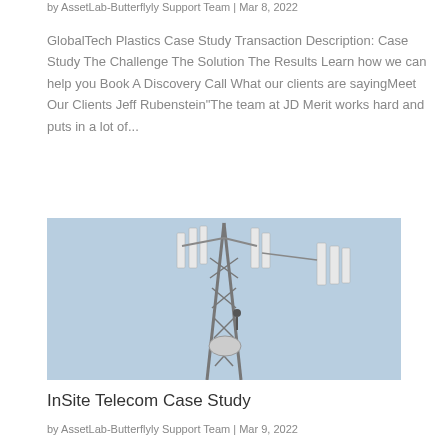by AssetLab-Butterflyly Support Team | Mar 8, 2022
GlobalTech Plastics Case Study Transaction Description: Case Study The Challenge The Solution The Results Learn how we can help you Book A Discovery Call What our clients are sayingMeet Our Clients Jeff Rubenstein"The team at JD Merit works hard and puts in a lot of...
[Figure (photo): Telecommunications tower with multiple antenna arrays against a light blue sky, with a worker visible on the structure]
InSite Telecom Case Study
by AssetLab-Butterflyly Support Team | Mar 9, 2022